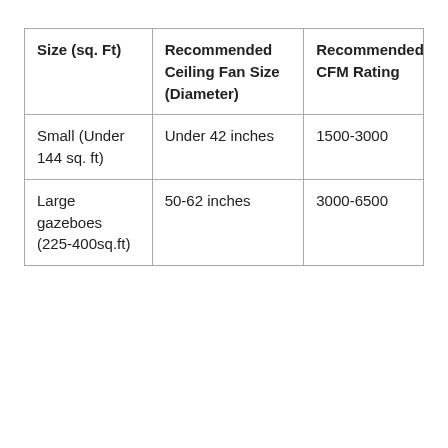| Size (sq. Ft) | Recommended Ceiling Fan Size (Diameter) | Recommended CFM Rating |
| --- | --- | --- |
| Small (Under 144 sq. ft) | Under 42 inches | 1500-3000 |
| Large gazeboes (225-400sq.ft) | 50-62 inches | 3000-6500 |